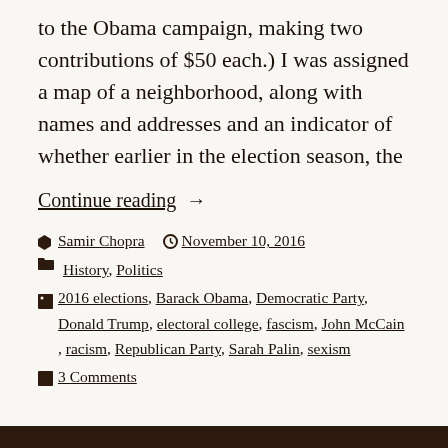to the Obama campaign, making two contributions of $50 each.) I was assigned a map of a neighborhood, along with names and addresses and an indicator of whether earlier in the election season, the
Continue reading →
Samir Chopra   November 10, 2016
History, Politics
2016 elections, Barack Obama, Democratic Party, Donald Trump, electoral college, fascism, John McCain, racism, Republican Party, Sarah Palin, sexism
3 Comments